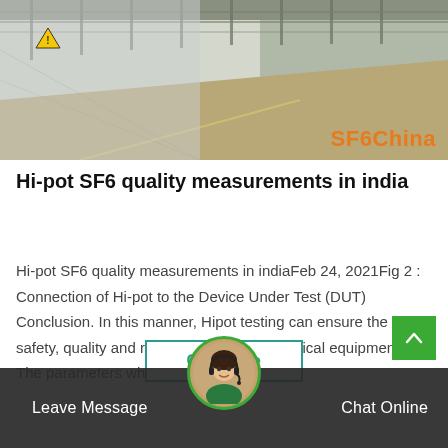[Figure (photo): Outdoor industrial/electrical facility with fence, ramp, and yellow warning sign. 'SF6China' watermark in orange at bottom right.]
Hi-pot SF6 quality measurements in india
Hi-pot SF6 quality measurements in indiaFeb 24, 2021Fig 2 : Connection of Hi-pot to the Device Under Test (DUT) Conclusion. In this manner, Hipot testing can ensure the safety, quality and reliability of critical electrical equipment. The parameters which…
Get Price
Leave Message
Chat Online